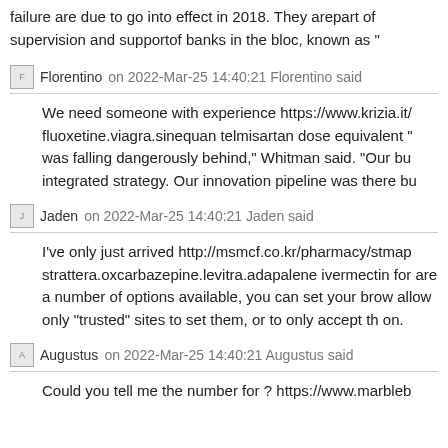failure are due to go into effect in 2018. They arepart of supervision and supportof banks in the bloc, known as "
Florentino  on 2022-Mar-25 14:40:21 Florentino said
We need someone with experience https://www.krizia.it/ fluoxetine.viagra.sinequan telmisartan dose equivalent " was falling dangerously behind," Whitman said. "Our bu integrated strategy. Our innovation pipeline was there bu
Jaden  on 2022-Mar-25 14:40:21 Jaden said
I've only just arrived http://msmcf.co.kr/pharmacy/stmap strattera.oxcarbazepine.levitra.adapalene ivermectin for are a number of options available, you can set your brow allow only "trusted" sites to set them, or to only accept th on.
Augustus  on 2022-Mar-25 14:40:21 Augustus said
Could you tell me the number for ? https://www.marbleb